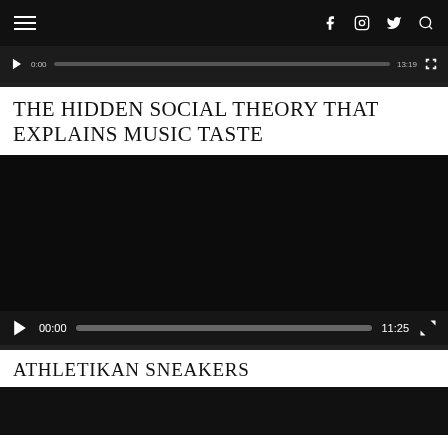Navigation bar with hamburger menu and social icons (Facebook, Instagram, Twitter, Search)
[Figure (screenshot): Partial video player bar showing play button, timestamp 0:00, progress bar, and end time 13:19]
THE HIDDEN SOCIAL THEORY THAT EXPLAINS MUSIC TASTE
[Figure (screenshot): Video player with dark background, play button, time 00:00, progress bar, duration 11:25, and fullscreen button]
ATHLETIKAN SNEAKERS
[Figure (screenshot): Bottom dark image area for Athletikan Sneakers content (partially visible)]